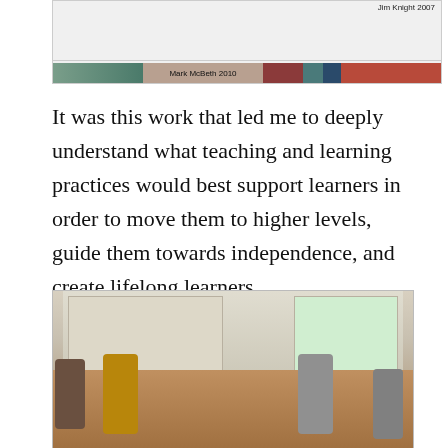[Figure (other): Top portion of a structured diagram or chart showing 'Jim Knight 2007' label at top right, a horizontal divider line, and a colored segmented bar labeled 'Mark McBeth 2010' at the bottom]
It was this work that led me to deeply understand what teaching and learning practices would best support learners in order to move them to higher levels, guide them towards independence, and create lifelong learners.
[Figure (photo): Photograph of several people (appearing to be educators or teachers) seated around a conference table in a classroom or meeting room, engaged in discussion. There are windows with blinds in the background and papers/items on the table.]